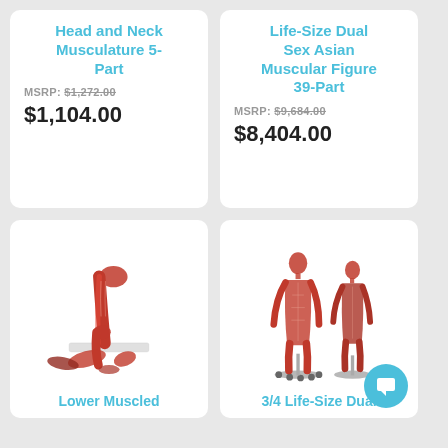Head and Neck Musculature 5-Part
MSRP: $1,272.00
$1,104.00
Life-Size Dual Sex Asian Muscular Figure 39-Part
MSRP: $9,684.00
$8,404.00
[Figure (photo): Lower muscled leg anatomy model in multiple parts on a white base]
Lower Muscled
[Figure (photo): 3/4 life-size dual sex muscular figure models, two standing figures on wheeled stands]
3/4 Life-Size Dual